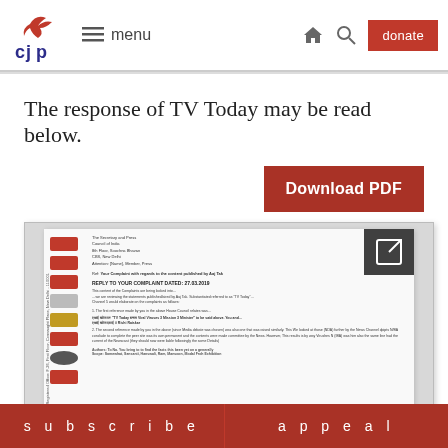CJP — menu (navigation bar with home, search, donate)
The response of TV Today may be read below.
[Figure (other): Download PDF button — dark red rectangle with white bold text 'Download PDF']
[Figure (screenshot): Thumbnail/preview image of a scanned PDF document showing a formal letter with letterhead logos on the left margin and text columns, with an expand icon in the top-right corner.]
subscribe   appeal